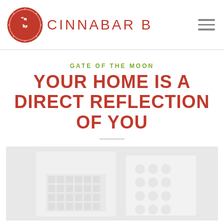CINNABAR B
GATE OF THE MOON
YOUR HOME IS A DIRECT REFLECTION OF YOU
[Figure (photo): White sculptural wall art panels with geometric patterns and raised circular/rectangular reliefs, photographed against a white background.]